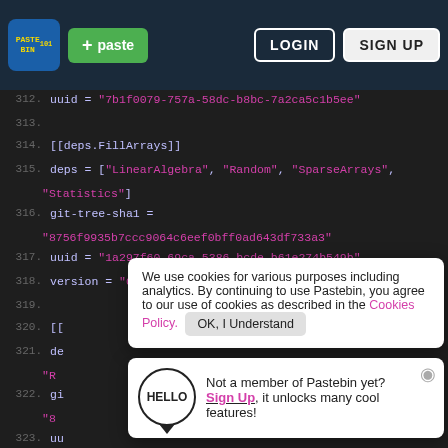Pastebin header with logo, + paste button, LOGIN, SIGN UP
312. uuid = "7b1f0079-757a-58dc-b8bc-7a2ca5c1b5ee"
313.
314. [[deps.FillArrays]]
315. deps = ["LinearAlgebra", "Random", "SparseArrays", "Statistics"]
316. git-tree-sha1 = "8756f9935b7ccc9064c6eef0bff0ad643df733a3"
317. uuid = "1a297f60-69ca-5386-bcde-b61e274b549b"
318. version = "0.12.7"
319.
320. [[
321. de ... "R
322. gi ... "8
323. uu
324. version = "2.8.1"
Cookie banner: We use cookies for various purposes including analytics. By continuing to use Pastebin, you agree to our use of cookies as described in the Cookies Policy. OK, I Understand
Not a member of Pastebin yet? Sign Up, it unlocks many cool features!